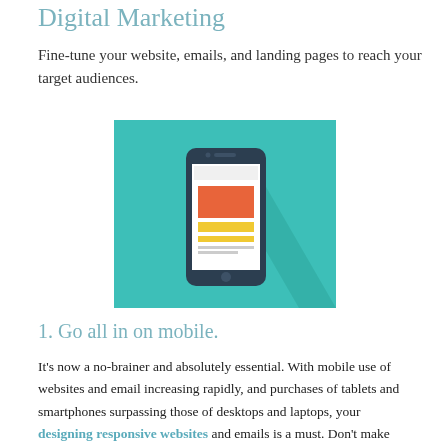Digital Marketing
Fine-tune your website, emails, and landing pages to reach your target audiences.
[Figure (illustration): Flat design illustration of a smartphone displaying a webpage layout with orange and yellow content blocks, on a teal/turquoise background with a long shadow effect.]
1. Go all in on mobile.
It's now a no-brainer and absolutely essential. With mobile use of websites and email increasing rapidly, and purchases of tablets and smartphones surpassing those of desktops and laptops, your designing responsive websites and emails is a must. Don't make mobile users struggle to view and engage with your content. Google even recently dubbed "Mobile...